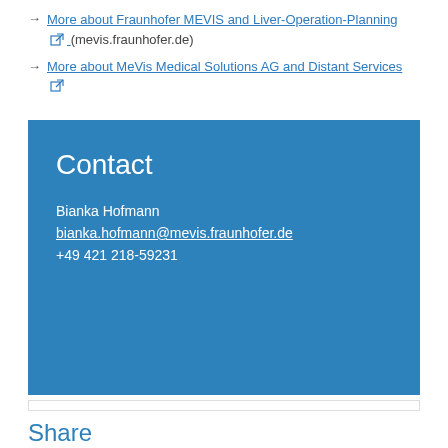More about Fraunhofer MEVIS and Liver-Operation-Planning (mevis.fraunhofer.de)
More about MeVis Medical Solutions AG and Distant Services
Contact
Bianka Hofmann
bianka.hofmann@mevis.fraunhofer.de
+49 421 218-59231
Share